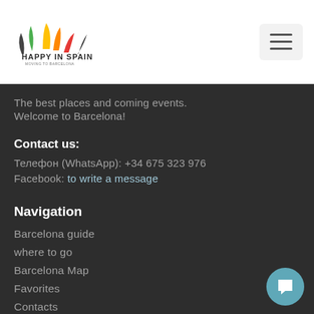Happy in Spain — logo and navigation menu button
The best places and coming events.
Welcome to Barcelona!
Contact us:
Телефон (WhatsApp): +34 675 323 976
Facebook: to write a message
Navigation
Barcelona guide
where to go
Barcelona Map
Favorites
Contacts
Reviews